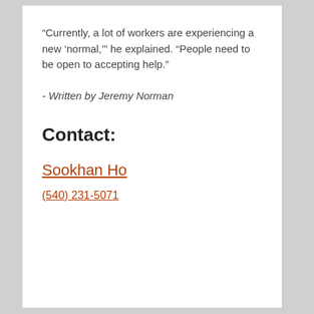“Currently, a lot of workers are experiencing a new ‘normal,’” he explained. “People need to be open to accepting help.”
- Written by Jeremy Norman
Contact:
Sookhan Ho
(540) 231-5071